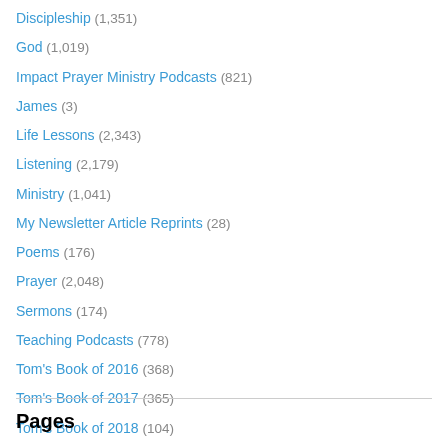Discipleship (1,351)
God (1,019)
Impact Prayer Ministry Podcasts (821)
James (3)
Life Lessons (2,343)
Listening (2,179)
Ministry (1,041)
My Newsletter Article Reprints (28)
Poems (176)
Prayer (2,048)
Sermons (174)
Teaching Podcasts (778)
Tom's Book of 2016 (368)
Tom's Book of 2017 (365)
Tom's Book of 2018 (104)
Travel (36)
Pages